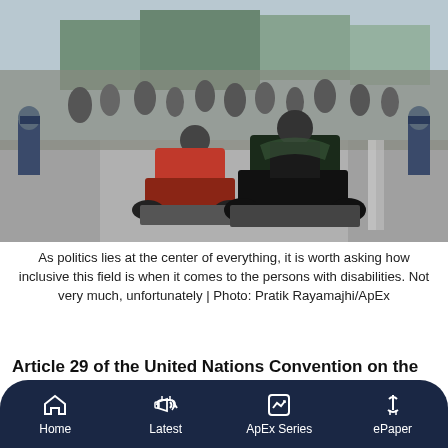[Figure (photo): Street scene showing two motorcyclists wearing helmets and face masks riding adapted three-wheeled motorcycles. Police officers in uniform stand on both sides of the road. A large crowd of pedestrians is visible in the background near what appears to be a public square or market area. Buildings with signage visible in the background.]
As politics lies at the center of everything, it is worth asking how inclusive this field is when it comes to the persons with disabilities. Not very much, unfortunately | Photo: Pratik Rayamajhi/ApEx
Article 29 of the United Nations Convention on the
...State parties shall guarantee to persons with